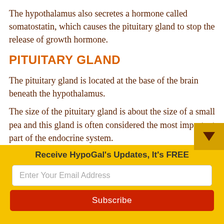The hypothalamus also secretes a hormone called somatostatin, which causes the pituitary gland to stop the release of growth hormone.
PITUITARY GLAND
The pituitary gland is located at the base of the brain beneath the hypothalamus.
The size of the pituitary gland is about the size of a small pea and this gland is often considered the most important part of the endocrine system.
The pituitary gland is thought to be one of the most important part of the endocrine system
Receive HypoGal's Updates, It's FREE
Enter Your Email Address
Subscribe